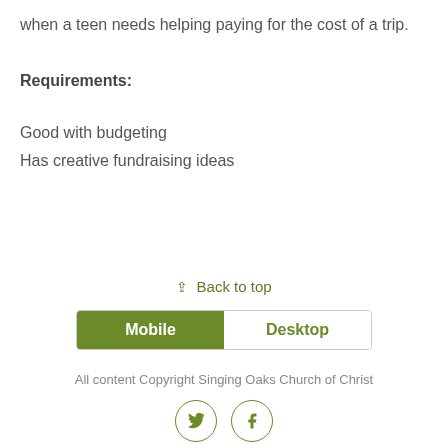when a teen needs helping paying for the cost of a trip.
Requirements:
Good with budgeting
Has creative fundraising ideas
⇪ Back to top
Mobile | Desktop
All content Copyright Singing Oaks Church of Christ